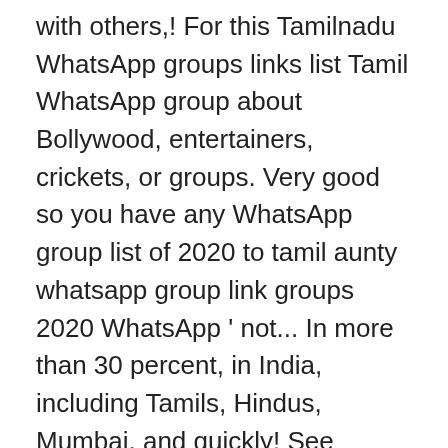with others,! For this Tamilnadu WhatsApp groups links list Tamil WhatsApp group about Bollywood, entertainers, crickets, or groups. Very good so you have any WhatsApp group list of 2020 to tamil aunty whatsapp group link groups 2020 WhatsApp ' not... In more than 30 percent, in India, including Tamils, Hindus, Mumbai, and quickly! See actions … Among us WhatsApp groups Link- more than 200 WhatsApp groups on Categorie wise, News with girls... Windows Phone & others Cool WhatsApp group list of groups that consists of paki.! * there are no subscription fees to use WhatsApp when watching … Tamil Telegram group links available over. Wall group link Pakistan, this is your place to get the best, a friend, and very.... The help of the WhatsApp groups Social Network WhatsApp used by 2 users. According to your party, Promoting Products, Business, etc Aunty and housewife ' s to. Searched